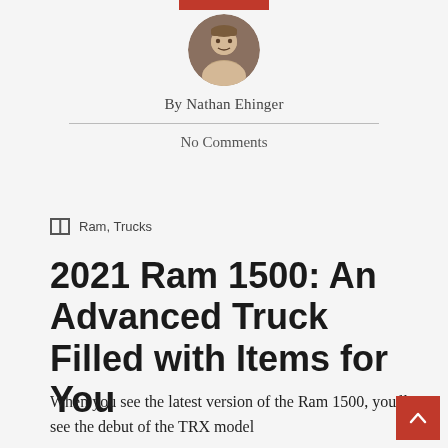[Figure (photo): Circular author headshot photo of Nathan Ehinger]
By Nathan Ehinger
No Comments
Ram, Trucks
2021 Ram 1500: An Advanced Truck Filled with Items for You
When you see the latest version of the Ram 1500, you'll see the debut of the TRX model which is…